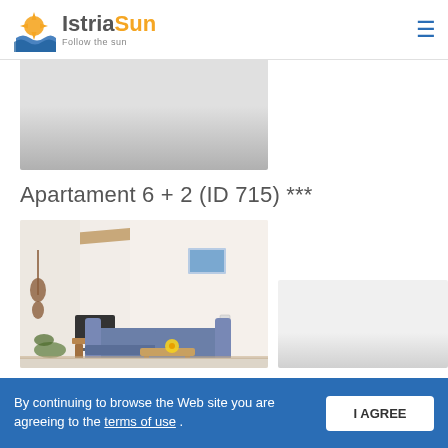[Figure (logo): IstriaSun logo with sun/wave graphic and tagline 'Follow the sun']
[Figure (photo): Property image placeholder - grey gradient rectangle]
Apartament 6 + 2 (ID 715) ***
[Figure (photo): Interior photo of apartment showing living room with sofa, coffee table, TV and high sloped ceiling with wooden beam]
[Figure (photo): Second property image placeholder - grey gradient rectangle]
By continuing to browse the Web site you are agreeing to the terms of use .